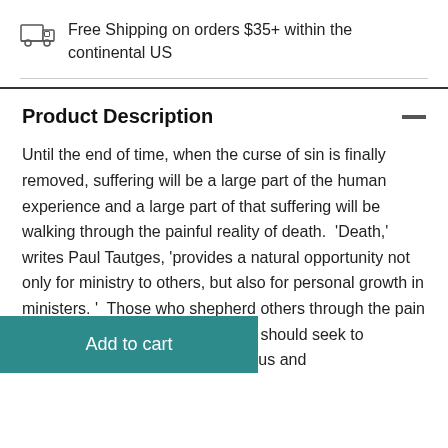[Figure (illustration): Truck/shipping icon, small line-art style]
Free Shipping on orders $35+ within the continental US
Product Description
Until the end of time, when the curse of sin is finally removed, suffering will be a large part of the human experience and a large part of that suffering will be walking through the painful reality of death.  'Death,' writes Paul Tautges, 'provides a natural opportunity not only for ministry to others, but also for personal growth in ministers. '  Those who shepherd others through the pain and loss that accompanies death should seek to el on these precious and
Add to cart